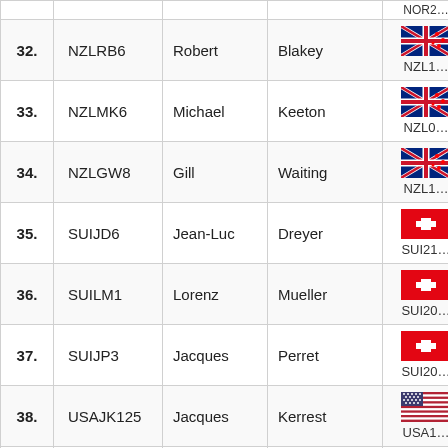| # | Code | First Name | Last Name | Country |
| --- | --- | --- | --- | --- |
| 32. | NZLRB6 | Robert | Blakey | NZL1… |
| 33. | NZLMK6 | Michael | Keeton | NZL0… |
| 34. | NZLGW8 | Gill | Waiting | NZL1… |
| 35. | SUIJD6 | Jean-Luc | Dreyer | SUI21… |
| 36. | SUILM1 | Lorenz | Mueller | SUI20… |
| 37. | SUIJP3 | Jacques | Perret | SUI20… |
| 38. | USAJK125 | Jacques | Kerrest | USA1… |